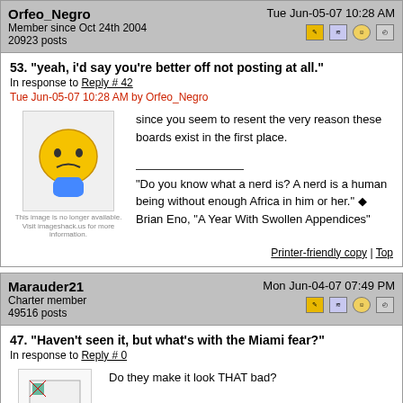Orfeo_Negro | Member since Oct 24th 2004 | 20923 posts | Tue Jun-05-07 10:28 AM
53. "yeah, i'd say you're better off not posting at all."
In response to Reply # 42
Tue Jun-05-07 10:28 AM by Orfeo_Negro
since you seem to resent the very reason these boards exist in the first place.
"Do you know what a nerd is? A nerd is a human being without enough Africa in him or her." ◆ Brian Eno, "A Year With Swollen Appendices"
Printer-friendly copy | Top
Marauder21 | Charter member | 49516 posts | Mon Jun-04-07 07:49 PM
47. "Haven't seen it, but what's with the Miami fear?"
In response to Reply # 0
Do they make it look THAT bad?
Would you ever want to visit Baltimore having seen Homicide, The Corner and The Wire?